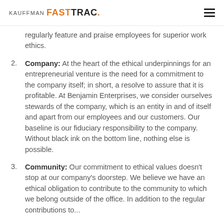KAUFFMAN FASTTRAC.
regularly feature and praise employees for superior work ethics.
Company: At the heart of the ethical underpinnings for an entrepreneurial venture is the need for a commitment to the company itself; in short, a resolve to assure that it is profitable. At Benjamin Enterprises, we consider ourselves stewards of the company, which is an entity in and of itself and apart from our employees and our customers. Our baseline is our fiduciary responsibility to the company. Without black ink on the bottom line, nothing else is possible.
Community: Our commitment to ethical values doesn't stop at our company's doorstep. We believe we have an ethical obligation to contribute to the community to which we belong outside of the office. In addition to the regular contributions to...